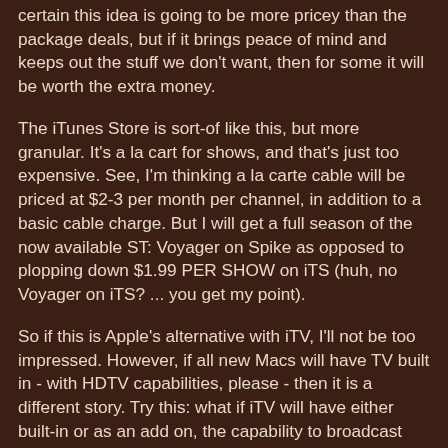certain this idea is going to be more pricey than the package deals, but if it brings peace of mind and keeps out the stuff we don't want, then for some it will be worth the extra money.
The iTunes Store is sort-of like this, but more granular. It's a la cart for shows, and that's just too expensive. See, I'm thinking a la carte cable will be priced at $2-3 per month per channel, in addition to a basic cable charge. But I will get a full season of the now available ST: Voyager on Spike as opposed to plopping down $1.99 PER SHOW on iTS (huh, no Voyager on iTS? ... you get my point).
So if this is Apple's alternative with iTV, I'll not be too impressed. However, if all new Macs will have TV built in - with HDTV capabilities, please - then it is a different story. Try this: what if iTV will have either built-in or as an add on, the capability to broadcast your digital cable signal over the expensive Airport 802.11 N to your Macs (including the tablet) around your house. Now that would be cool. Include in each Mac with Leopard the ability to DVR, too. Now that is something that will trump all other cards including a no-show